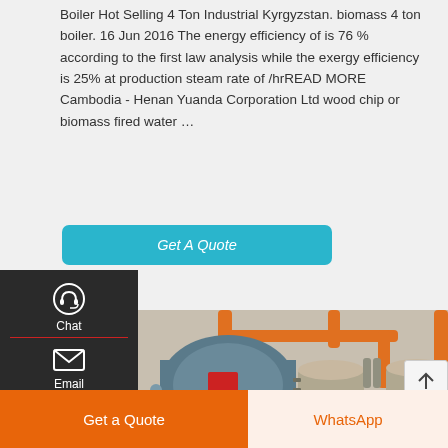Boiler Hot Selling 4 Ton Industrial Kyrgyzstan. biomass 4 ton boiler. 16 Jun 2016 The energy efficiency of is 76 % according to the first law analysis while the exergy efficiency is 25% at production steam rate of /hrREAD MORE Cambodia - Henan Yuanda Corporation Ltd wood chip or biomass fired water …
[Figure (screenshot): Cyan/teal 'Get A Quote' button]
[Figure (photo): Industrial boiler room showing large cylindrical boilers with orange pipes and metallic cylindrical tanks in a facility]
[Figure (screenshot): Dark side navigation panel with Chat (headset icon), Email (envelope icon), Contact (speech bubble icon), and up-arrow icons, separated by red dividers]
[Figure (screenshot): Up-arrow back-to-top button box on the right side]
[Figure (screenshot): Bottom bar with orange 'Get a Quote' button on the left and light orange 'WhatsApp' button on the right]